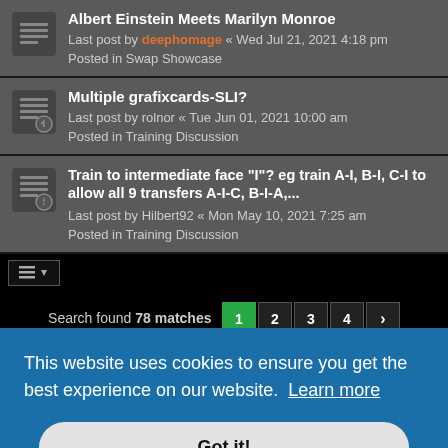Albert Einstein Meets Marilyn Monroe
Last post by deephomage « Wed Jul 21, 2021 4:18 pm
Posted in Swap Showcase
Multiple grafixcards-SLI?
Last post by rolnor « Tue Jun 01, 2021 10:00 am
Posted in Training Discussion
Train to intermediate face "I"? eg train A-I, B-I, C-I to allow all 9 transfers A-I-C, B-I-A,...
Last post by Hilbert92 « Mon May 10, 2021 7:25 am
Posted in Training Discussion
Search found 78 matches
This website uses cookies to ensure you get the best experience on our website. Learn more
Got it!